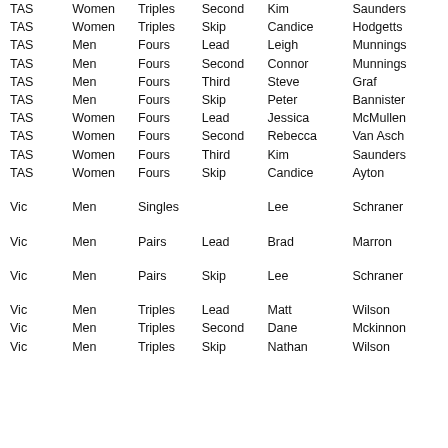| State | Gender | Discipline | Position | FirstName | LastName |
| --- | --- | --- | --- | --- | --- |
| TAS | Women | Triples | Second | Kim | Saunders |
| TAS | Women | Triples | Skip | Candice | Hodgetts |
| TAS | Men | Fours | Lead | Leigh | Munnings |
| TAS | Men | Fours | Second | Connor | Munnings |
| TAS | Men | Fours | Third | Steve | Graf |
| TAS | Men | Fours | Skip | Peter | Bannister |
| TAS | Women | Fours | Lead | Jessica | McMullen |
| TAS | Women | Fours | Second | Rebecca | Van Asch |
| TAS | Women | Fours | Third | Kim | Saunders |
| TAS | Women | Fours | Skip | Candice | Ayton |
| Vic | Men | Singles |  | Lee | Schraner |
| Vic | Men | Pairs | Lead | Brad | Marron |
| Vic | Men | Pairs | Skip | Lee | Schraner |
| Vic | Men | Triples | Lead | Matt | Wilson |
| Vic | Men | Triples | Second | Dane | Mckinnon |
| Vic | Men | Triples | Skip | Nathan | Wilson |